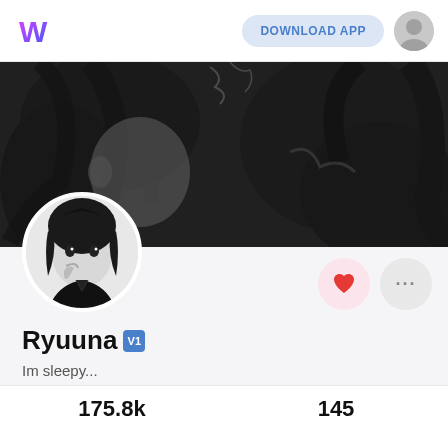DOWNLOAD APP
[Figure (illustration): Anime-style banner image showing two dark-haired characters in close proximity, rendered in grayscale/monochrome tones]
[Figure (illustration): Circular profile avatar showing an anime-style character with black hair, black outfit, hand raised to face, in black and white]
Ryuuna
Im sleepy...
2021-06-01 Joined   Global
175.8k   145